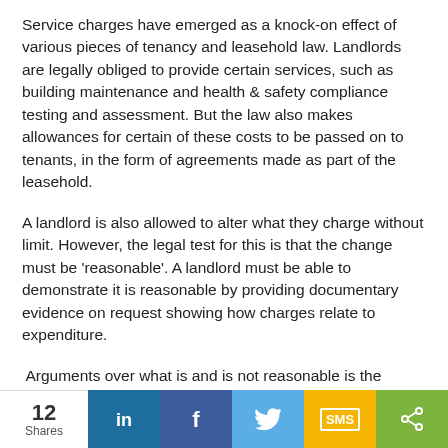Service charges have emerged as a knock-on effect of various pieces of tenancy and leasehold law. Landlords are legally obliged to provide certain services, such as building maintenance and health & safety compliance testing and assessment. But the law also makes allowances for certain of these costs to be passed on to tenants, in the form of agreements made as part of the leasehold.
A landlord is also allowed to alter what they charge without limit. However, the legal test for this is that the change must be 'reasonable'. A landlord must be able to demonstrate it is reasonable by providing documentary evidence on request showing how charges relate to expenditure.
Arguments over what is and is not reasonable is the source of many disputes over service charges.
The tenant's perspective
Service charges are a legitimate way for landlords to
12 Shares | LinkedIn | Facebook | Twitter | SMS | Share